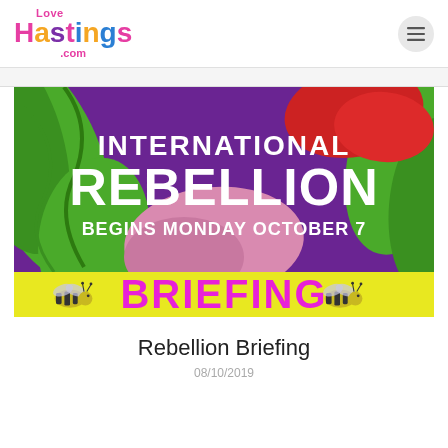LoveHastings.com
[Figure (illustration): International Rebellion Begins Monday October 7 Briefing banner image with bees on yellow strip and colorful plant/abstract background in purple, green, red, and pink]
Rebellion Briefing
08/10/2019